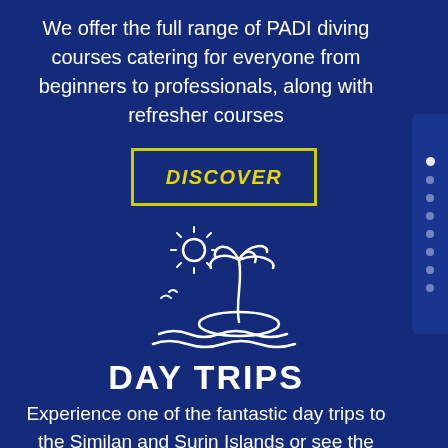We offer the full range of PADI diving courses catering for everyone from beginners to professionals, along with refresher courses
[Figure (other): Yellow-outlined rectangular button with bold italic yellow text reading DISCOVER on dark navy background]
[Figure (illustration): White line illustration of a tropical island scene with sun, palm tree, and water waves]
DAY TRIPS
Experience one of the fantastic day trips to the Similan and Surin Islands or see the